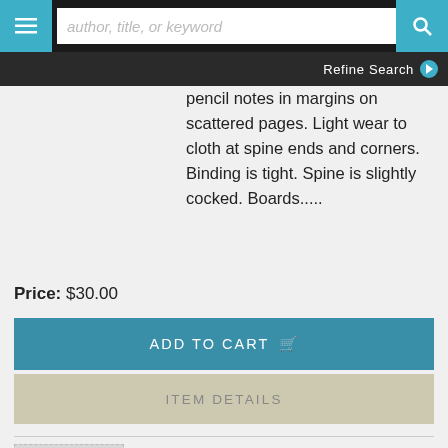[Figure (screenshot): Navigation bar with hamburger menu button, search input box with placeholder 'author, title, or keyword', and teal search button]
Refine Search
pencil notes in margins on scattered pages. Light wear to cloth at spine ends and corners. Binding is tight. Spine is slightly cocked. Boards.....
Price: $30.00
ADD TO CART
ITEM DETAILS
Karl Marlantes
MATTERHORN: A NOVEL OF THE